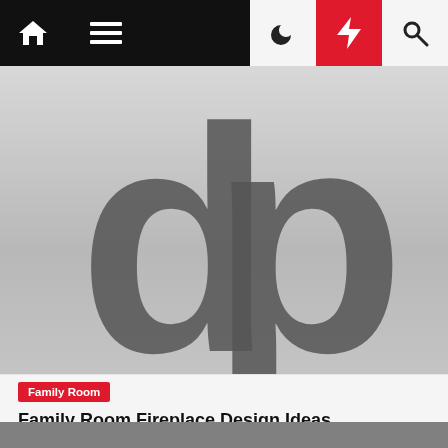Navigation bar with home, menu, moon/dark mode, bolt/flash, and search icons
[Figure (logo): Large stylized 'dp' logo letters in dark gray on a light gray gradient background]
Family Room
Family Room Fireplace Design Ideas
2 years ago
[Figure (photo): Partial view of a gray image at the bottom of the page]